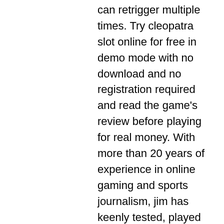can retrigger multiple times. Try cleopatra slot online for free in demo mode with no download and no registration required and read the game's review before playing for real money. With more than 20 years of experience in online gaming and sports journalism, jim has keenly tested, played and reviewed a multitude of slot games, looking for. Cleopatra slots online are set against a deep purple background, in a temple of some sort. The game, featuring five reels and three rows. Here, we offer you a free version of the classic cleopatra slot machine. You can play our free cleopatra slots here with no download required. The famous queen rules her mystical land and has great treasures right to hand. Grab yours with this 5-reel, 20 payline slot game, packed with free spins and. From vikings to leprechauns, roulette to rainbows, and king kong to cleopatra, betfred games is